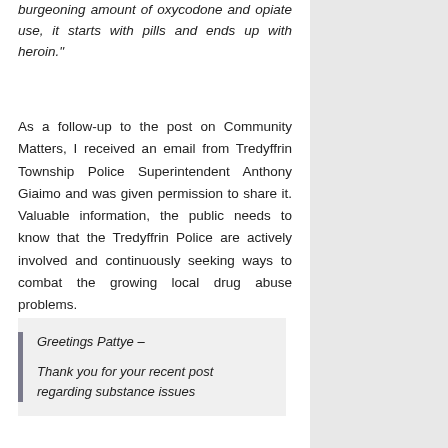burgeoning amount of oxycodone and opiate use, it starts with pills and ends up with heroin."
As a follow-up to the post on Community Matters, I received an email from Tredyffrin Township Police Superintendent Anthony Giaimo and was given permission to share it. Valuable information, the public needs to know that the Tredyffrin Police are actively involved and continuously seeking ways to combat the growing local drug abuse problems.
Greetings Pattye –

Thank you for your recent post regarding substance issues